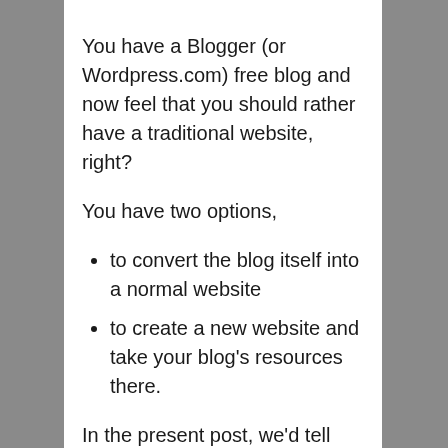You have a Blogger (or Wordpress.com) free blog and now feel that you should rather have a traditional website, right?
You have two options,
to convert the blog itself into a normal website
to create a new website and take your blog's resources there.
In the present post, we'd tell you how to convert the blog into a normal, simple, website that does not look like a blog. The procedure to redirect the blog to a new website is dealt with in this earlier post: Independent domain name, webhost and migration.
Before we tell you how to convert the blog